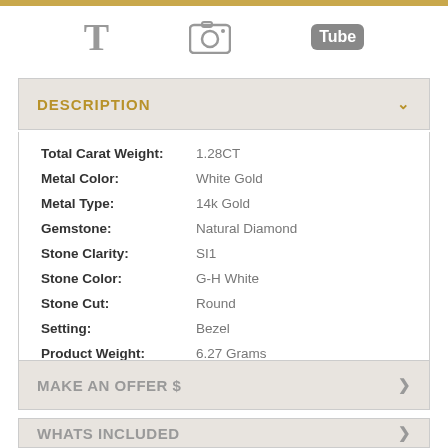[Figure (other): Social media icons: T (Twitter/Tumblr), camera (Instagram), Tube (YouTube)]
DESCRIPTION
| Total Carat Weight: | 1.28CT |
| Metal Color: | White Gold |
| Metal Type: | 14k Gold |
| Gemstone: | Natural Diamond |
| Stone Clarity: | SI1 |
| Stone Color: | G-H White |
| Stone Cut: | Round |
| Setting: | Bezel |
| Product Weight: | 6.27 Grams |
| Width: | 6.50mm Crown. |
MAKE AN OFFER $
WHATS INCLUDED